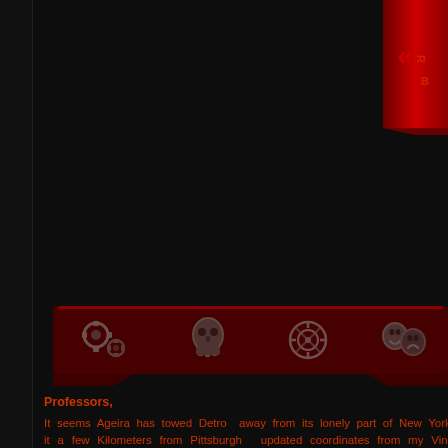[Figure (screenshot): Red vertical banner/tab UI element at top right with red chevron arrow and text in a dark cyberpunk-style interface]
[Figure (screenshot): Dark red UI icon bar with four icons: gears, skull, crosshair/target, and theater/drama masks]
Professors,
It seems Ageira has towed Detroit away from its lonely part of New York, it a few Kilometers from Pittsburgh I updated coordinates from my Vin should be distributed to the rest of ou
Previous Location of Detroit Munition
Current Location of Detroit Munitions I